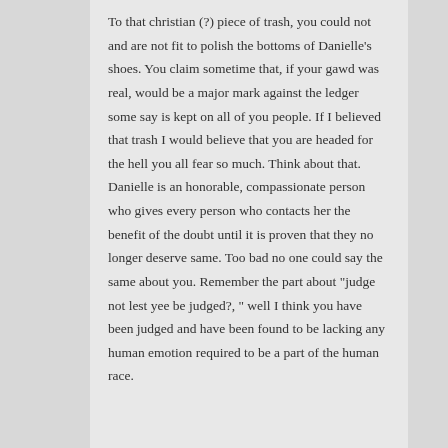To that christian (?) piece of trash, you could not and are not fit to polish the bottoms of Danielle’s shoes. You claim sometime that, if your gawd was real, would be a major mark against the ledger some say is kept on all of you people. If I believed that trash I would believe that you are headed for the hell you all fear so much. Think about that. Danielle is an honorable, compassionate person who gives every person who contacts her the benefit of the doubt until it is proven that they no longer deserve same. Too bad no one could say the same about you. Remember the part about “judge not lest yee be judged?, ” well I think you have been judged and have been found to be lacking any human emotion required to be a part of the human race.